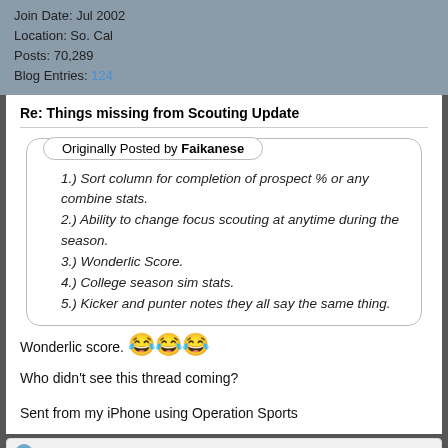Join Date: Jul 2002
Location: So. Cal
Posts: 70,289
Blog Entries: 124
Re: Things missing from Scouting Update
Originally Posted by Faikanese
1.) Sort column for completion of prospect % or any combine stats.
2.) Ability to change focus scouting at anytime during the season.
3.) Wonderlic Score.
4.) College season sim stats.
5.) Kicker and punter notes they all say the same thing.
Wonderlic score. 😂😂😂
Who didn't see this thread coming?
Sent from my iPhone using Operation Sports
TrapBasedGod, kt-od, Bazz27 and 5 others like this.